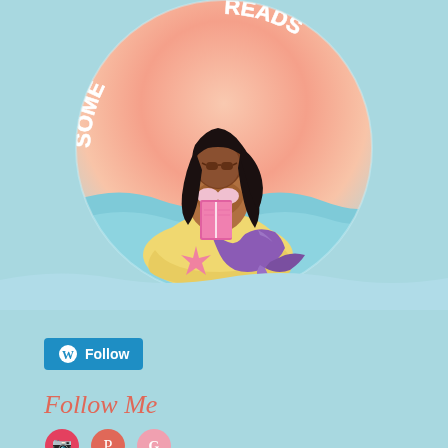[Figure (illustration): Circular logo showing a dark-skinned mermaid with black hair, reading a pink book, sitting on a yellow sand formation with a pink starfish. Ocean waves in blue and a pink/peach sunset background. Curved text around the top reads 'SOME... READS' in white letters. The background of the page is light blue/teal.]
[Figure (other): WordPress Follow button - blue rounded rectangle with WordPress 'W' icon and 'Follow' text in white]
Follow Me
[Figure (other): Social media icons row - partially visible circular icons at bottom of page]